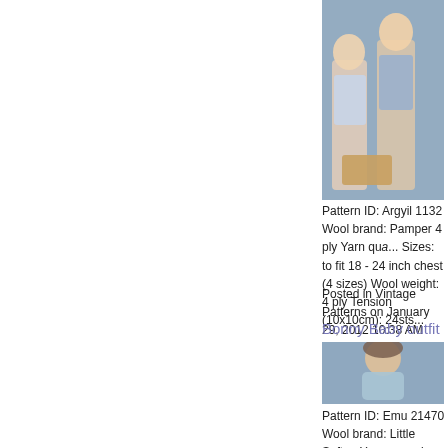[Figure (photo): Two children wearing knitted sweaters, one on a wooden toy, tiled background]
Pattern ID: Argyil 1132 Wool brand: Pamper 4 ply Yarn qua... Sizes: to fit 18 - 24 inch chest (4 sizes) Wool weight: 4 ply Tension (10x10cm): 24sts...
Posted in Vintage Patterns on January 29, 2012 10:38 AM
Bonny Baby outfit
[Figure (photo): Baby wearing blue knitted outfit and cap, sitting on a suitcase - Emu brand pattern 21470]
Pattern ID: Emu 21470 Wool brand: Little Softee Yarn qua... in chest Wool weight: Double Knitting Needle size: 4mm a... 30 rows over st...
Posted in Vintage Patterns on January 29, 2012 10:07 AM
Baby christening or special occasion
[Figure (photo): Partial view of a knitting pattern page for baby christening or special occasion outfit]